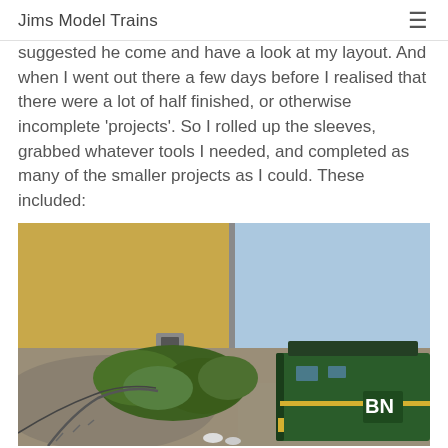Jims Model Trains
suggested he come and have a look at my layout. And when I went out there a few days before I realised that there were a lot of half finished, or otherwise incomplete 'projects'. So I rolled up the sleeves, grabbed whatever tools I needed, and completed as many of the smaller projects as I could. These included:
[Figure (photo): Overhead view of a model train layout showing tracks, green bushes/scenery, gravel ballast, a green locomotive (Burlington Northern style), with a yellow/tan backdrop wall on the left and blue sky backdrop on the right.]